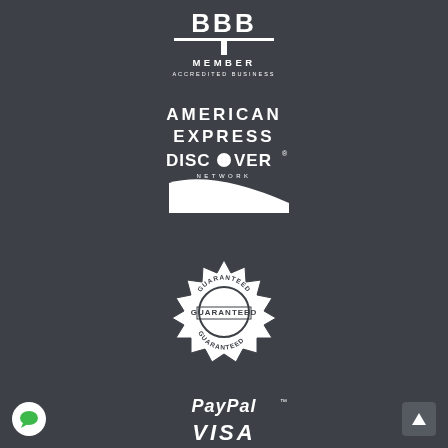[Figure (logo): BBB Member Accredited Business logo in white on dark background]
[Figure (logo): American Express and Discover Network logos in white on dark background]
[Figure (logo): Guaranteed badge/seal with circular text reading GUARANTEED in white on dark background]
[Figure (logo): PayPal and Visa logos in white italic text on dark background]